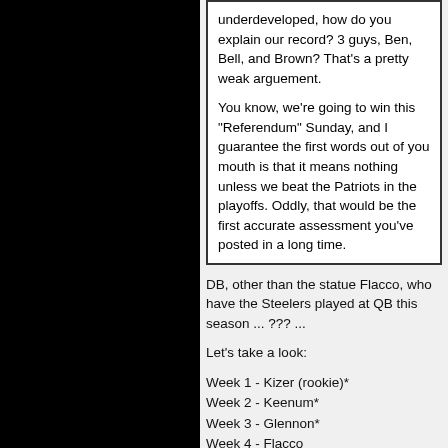underdeveloped, how do you explain our record? 3 guys, Ben, Bell, and Brown? That's a pretty weak arguement.

You know, we're going to win this "Referendum" Sunday, and I guarantee the first words out of you mouth is that it means nothing unless we beat the Patriots in the playoffs. Oddly, that would be the first accurate assessment you've posted in a long time.
DB, other than the statue Flacco, who have the Steelers played at QB this season ... ??? ...
Let's take a look:
Week 1 - Kizer (rookie)*
Week 2 - Keenum*
Week 3 - Glennon*
Week 4 - Flacco